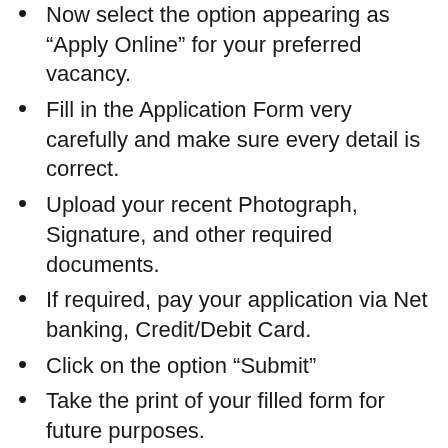Now select the option appearing as “Apply Online” for your preferred vacancy.
Fill in the Application Form very carefully and make sure every detail is correct.
Upload your recent Photograph, Signature, and other required documents.
If required, pay your application via Net banking, Credit/Debit Card.
Click on the option “Submit”
Take the print of your filled form for future purposes.
If you want further details about the vacancy, you are requested to read the official notification given below.